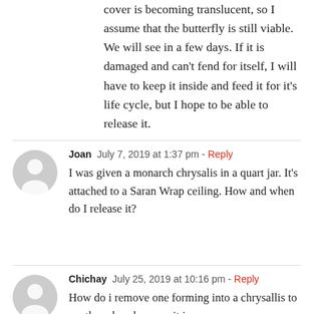cover is becoming translucent, so I assume that the butterfly is still viable. We will see in a few days. If it is damaged and can't fend for itself, I will have to keep it inside and feed it for it's life cycle, but I hope to be able to release it.
Joan  July 7, 2019 at 1:37 pm - Reply
I was given a monarch chrysalis in a quart jar. It's attached to a Saran Wrap ceiling. How and when do I release it?
Chichay  July 25, 2019 at 10:16 pm - Reply
How do i remove one forming into a chrysallis to another place because it is